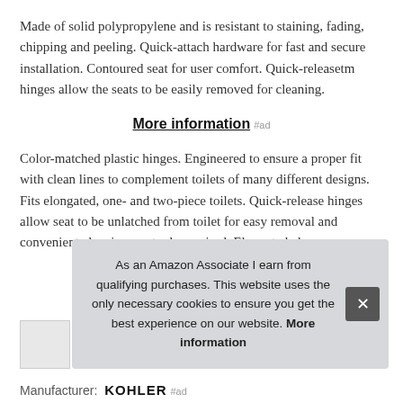Made of solid polypropylene and is resistant to staining, fading, chipping and peeling. Quick-attach hardware for fast and secure installation. Contoured seat for user comfort. Quick-releasetm hinges allow the seats to be easily removed for cleaning.
More information #ad
Color-matched plastic hinges. Engineered to ensure a proper fit with clean lines to complement toilets of many different designs. Fits elongated, one- and two-piece toilets. Quick-release hinges allow seat to be unlatched from toilet for easy removal and convenient cleaning; no tools required. Elongated clos
As an Amazon Associate I earn from qualifying purchases. This website uses the only necessary cookies to ensure you get the best experience on our website. More information
Manufacturer: KOHLER #ad